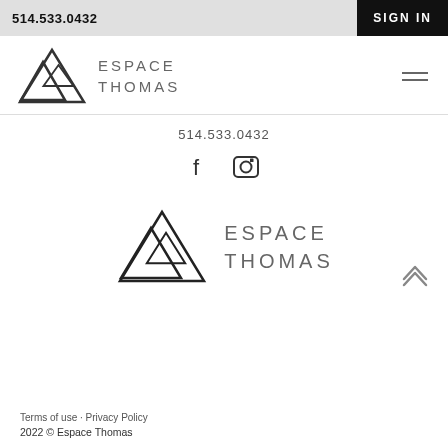514.533.0432  SIGN IN
[Figure (logo): Espace Thomas logo with triangles icon and text ESPACE THOMAS in header area]
514.533.0432
[Figure (illustration): Social media icons: Facebook (f) and Instagram (camera) icons]
[Figure (logo): Espace Thomas logo centered with triangles icon and text ESPACE THOMAS]
Terms of use · Privacy Policy
2022 © Espace Thomas